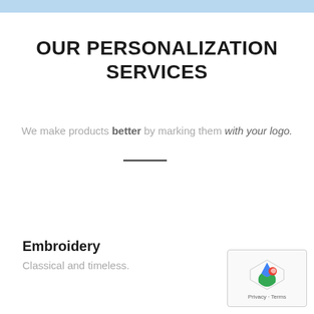OUR PERSONALIZATION SERVICES
We make products better by marking them with your logo.
Embroidery
Classical and timeless.